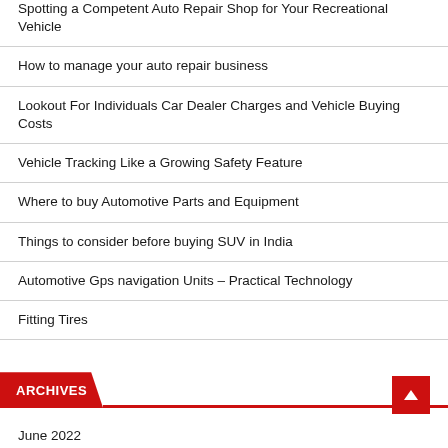Spotting a Competent Auto Repair Shop for Your Recreational Vehicle
How to manage your auto repair business
Lookout For Individuals Car Dealer Charges and Vehicle Buying Costs
Vehicle Tracking Like a Growing Safety Feature
Where to buy Automotive Parts and Equipment
Things to consider before buying SUV in India
Automotive Gps navigation Units – Practical Technology
Fitting Tires
ARCHIVES
June 2022